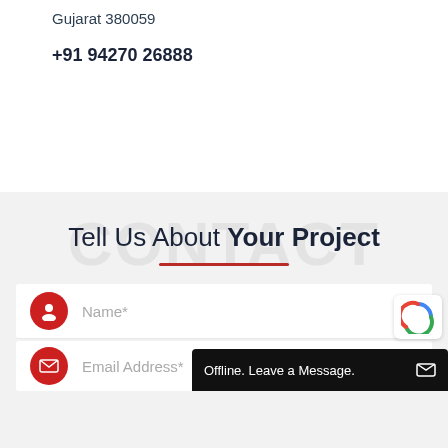Gujarat 380059
+91 94270 26888
Tell Us About Your Project
[Figure (screenshot): Contact form with Name* and Email Address* fields, each with red circle icon. Offline chat bar visible at bottom right. reCAPTCHA badge visible.]